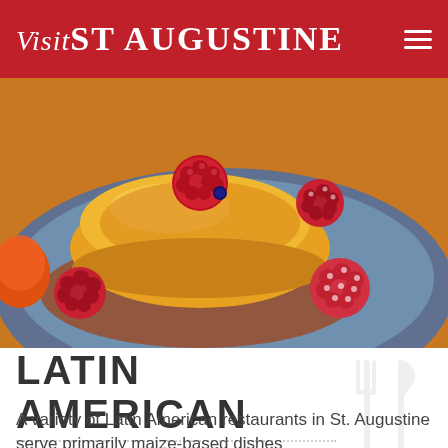Visit St Augustine
[Figure (photo): Close-up photo of a golden flan dessert topped with a fresh raspberry, surrounded by additional raspberries and caramel sauce on a decorative plate]
LATIN AMERICAN
A variety of Latin American restaurants in St. Augustine serve primarily maize-based dishes